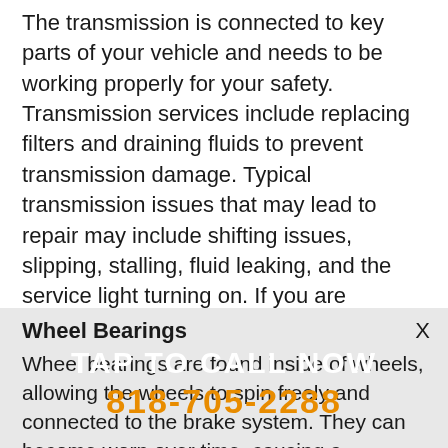The transmission is connected to key parts of your vehicle and needs to be working properly for your safety. Transmission services include replacing filters and draining fluids to prevent transmission damage. Typical transmission issues that may lead to repair may include shifting issues, slipping, stalling, fluid leaking, and the service light turning on. If you are concerned that you may need transmission repair, don't hesitate to schedule an appointment at John's Automotive today.
Wheel Bearings
TAP TO CALL NOW
818-705-2288
Wheel bearings are found inside of wheels, allowing the wheels to spin freely and connected to the brake system. They can become worn over time, causing a vibrating suspension and noisy rubbing as